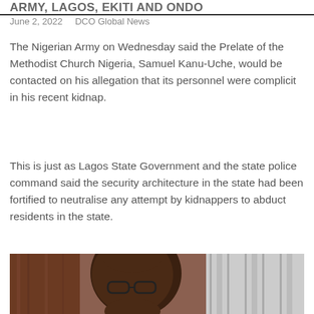ARMY, LAGOS, EKITI AND ONDO
June 2, 2022   DCO Global News
The Nigerian Army on Wednesday said the Prelate of the Methodist Church Nigeria, Samuel Kanu-Uche, would be contacted on his allegation that its personnel were complicit in his recent kidnap.
This is just as Lagos State Government and the state police command said the security architecture in the state had been fortified to neutralise any attempt by kidnappers to abduct residents in the state.
[Figure (photo): Photo of a man, likely Samuel Kanu-Uche, wearing glasses, with dark skin, in front of a striped background]